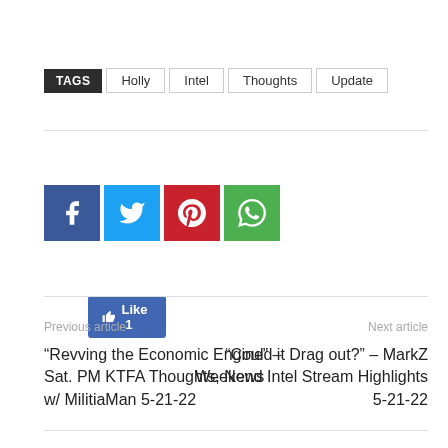TAGS  Holly  Intel  Thoughts  Update
[Figure (infographic): Facebook Like button showing count of 1]
[Figure (infographic): Social share icons: Facebook (blue f), Twitter (blue bird), Pinterest (red P), WhatsApp (green phone)]
Previous article
“Revving the Economic Engine” – Sat. PM KTFA Thoughts, News w/ MilitiaMan 5-21-22
Next article
“Could it Drag out?” – MarkZ Weekend Intel Stream Highlights 5-21-22